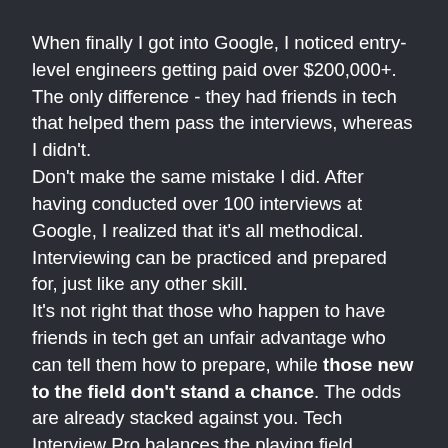When finally I got into Google, I noticed entry-level engineers getting paid over $200,000+.  The only difference - they had friends in tech that helped them pass the interviews, whereas I didn't.
Don't make the same mistake I did. After having conducted over 100 interviews at Google, I realized that it's all methodical.  Interviewing can be practiced and prepared for, just like any other skill.
It's not right that those who happen to have friends in tech get an unfair advantage who can tell them how to prepare, while those new to the field don't stand a chance.  The odds are already stacked against you. Tech Interview Pro balances the playing field.